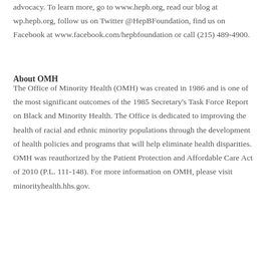advocacy. To learn more, go to www.hepb.org, read our blog at wp.hepb.org, follow us on Twitter @HepBFoundation, find us on Facebook at www.facebook.com/hepbfoundation or call (215) 489-4900.
About OMH
The Office of Minority Health (OMH) was created in 1986 and is one of the most significant outcomes of the 1985 Secretary's Task Force Report on Black and Minority Health. The Office is dedicated to improving the health of racial and ethnic minority populations through the development of health policies and programs that will help eliminate health disparities. OMH was reauthorized by the Patient Protection and Affordable Care Act of 2010 (P.L. 111-148). For more information on OMH, please visit minorityhealth.hhs.gov.